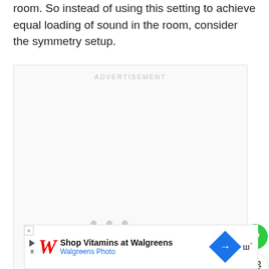room. So instead of using this setting to achieve equal loading of sound in the room, consider the symmetry setup.
[Figure (other): Advertisement placeholder box with 'ADVERTISEMENT' label and three loading dots]
[Figure (other): Heart/favorite button (green circle with white heart icon)]
[Figure (other): Share button (white circle with share icon)]
[Figure (other): What's Next promo: thumbnail of projector screen, label 'WHAT'S NEXT →', title 'Are Projector Screens Wor...']
[Figure (other): Walgreens advertisement banner: 'Shop Vitamins at Walgreens', 'Walgreens Photo', blue navigation diamond icon, MW logo]